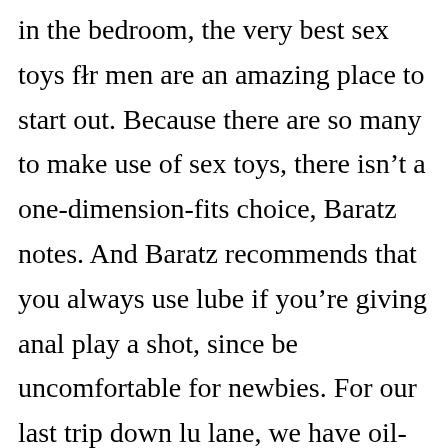in the bedroom, the very best sex toys for men are an amazing place to start out. Because there are so many to make use of sex toys, there isn't a one-dimension-fits choice, Baratz notes. And Baratz recommends that you always use lube if you're giving anal play a shot, since be uncomfortable for newbies. For our last trip down lu lane, we have oil-based lubricants. The Bel Air badge h one final flourish, however, and that came with the 195 model year, when the Bel Air designation was used to b a traditional new Chevy nameplate, the Impala. If you a after ideas for her, my colleague counted down the bes Toys of this year, so be sure you test that out. Toys des for penises and prostates can increase arousal, enhanc pleasure, and make any sexual encounter more enjoyabl says Todd Baratz, a certified sex therapist and licens